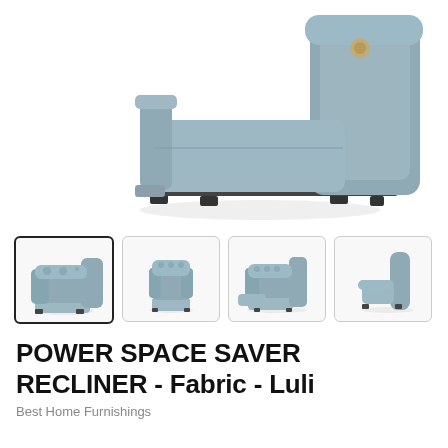[Figure (photo): Close-up partial view of a light gray fabric power space saver recliner chair, showing the back cushion, seat cushion, armrest, and black feet on a white background]
[Figure (photo): Four thumbnail images of the same gray fabric power space saver recliner chair: front-angled view, front straight view, reclined with footrest extended, and side profile view]
POWER SPACE SAVER RECLINER - Fabric - Luli
Best Home Furnishings